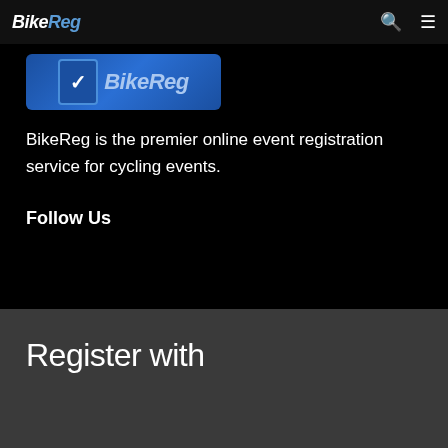BikeReg
[Figure (logo): BikeReg logo banner with blue background showing a checkmark icon and BikeReg text in light blue italic font]
BikeReg is the premier online event registration service for cycling events.
Follow Us
Register with